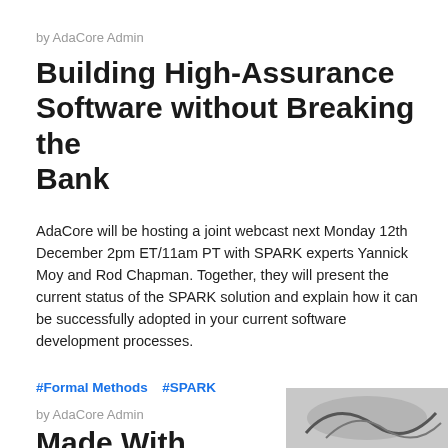by AdaCore Admin
Building High-Assurance Software without Breaking the Bank
AdaCore will be hosting a joint webcast next Monday 12th December 2pm ET/11am PT with SPARK experts Yannick Moy and Rod Chapman. Together, they will present the current status of the SPARK solution and explain how it can be successfully adopted in your current software development processes.
#Formal Methods   #SPARK
by AdaCore Admin
Made With Ada...